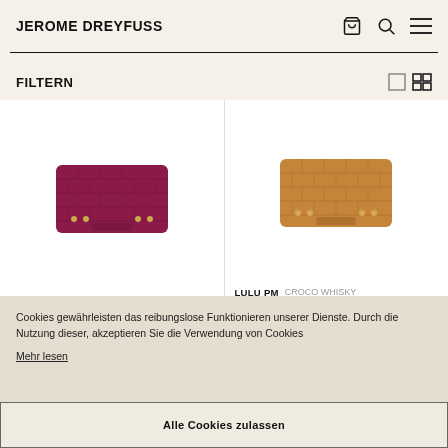JEROME DREYFUSS
FILTERN
[Figure (photo): Purple/raisin croco-embossed leather wallet with gold studs on white background]
LULU PM  AGNEAU BUBBLE RAISIN  280,00 €
[Figure (photo): Whisky/tan croco-embossed leather wallet with gold studs on white background]
LULU PM  CROCO WHISKY LAMMLEDER  280,00 €
Cookies gewährleisten das reibungslose Funktionieren unserer Dienste. Durch die Nutzung dieser, akzeptieren Sie die Verwendung von Cookies
Mehr lesen
Alle Cookies zulassen